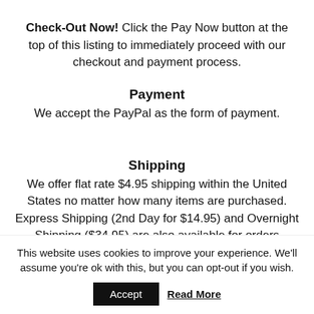Check-Out Now! Click the Pay Now button at the top of this listing to immediately proceed with our checkout and payment process.
Payment
We accept the PayPal as the form of payment.
Shipping
We offer flat rate $4.95 shipping within the United States no matter how many items are purchased. Express Shipping (2nd Day for $14.95) and Overnight Shipping ($34.95) are also available for orders
This website uses cookies to improve your experience. We'll assume you're ok with this, but you can opt-out if you wish.